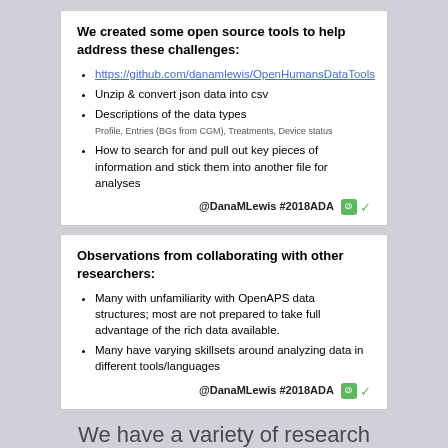We created some open source tools to help address these challenges:
https://github.com/danamlewis/OpenHumansDataTools
Unzip & convert json data into csv
Descriptions of the data types
Profile, Entries (BGs from CGM), Treatments, Device status
How to search for and pull out key pieces of information and stick them into another file for analyses
@DanaMLewis #2018ADA
Observations from collaborating with other researchers:
Many with unfamiliarity with OpenAPS data structures; most are not prepared to take full advantage of the rich data available.
Many have varying skillsets around analyzing data in different tools/languages
@DanaMLewis #2018ADA
We have a variety of research